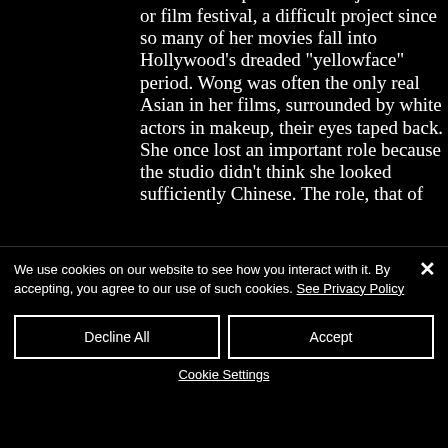serious retrospective at a major museum or film festival, a difficult project since so many of her movies fall into Hollywood's dreaded "yellowface" period. Wong was often the only real Asian in her films, surrounded by white actors in makeup, their eyes taped back. She once lost an important role because the studio didn't think she looked sufficiently Chinese. The role, that of
We use cookies on our website to see how you interact with it. By accepting, you agree to our use of such cookies. See Privacy Policy
Decline All
Accept
Cookie Settings